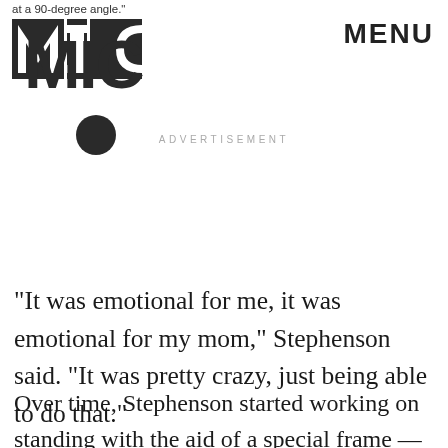at a 90-degree angle."
[Figure (logo): MIC logo - bold block letters M I C stacked vertically]
MENU
ADVERTISEMENT
"It was emotional for me, it was emotional for my mom," Stephenson said. "It was pretty crazy, just being able to do that."
Over time, Stephenson started working on standing with the aid of a special frame — first for 20 minutes, then 30 minutes, then up to an hour. He also does daily exercises to increase movement in his legs,